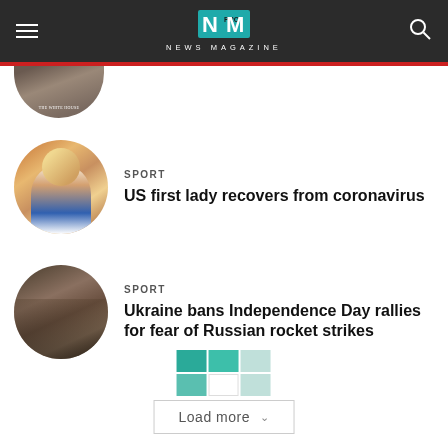NEWS MAGAZINE
[Figure (photo): Partially visible circular cropped image of the White House]
[Figure (photo): Circular cropped photo of a smiling blonde woman (US First Lady)]
SPORT
US first lady recovers from coronavirus
[Figure (photo): Circular cropped photo of destroyed military equipment (Ukraine conflict)]
SPORT
Ukraine bans Independence Day rallies for fear of Russian rocket strikes
[Figure (logo): Teal grid loading indicator dots]
Load more